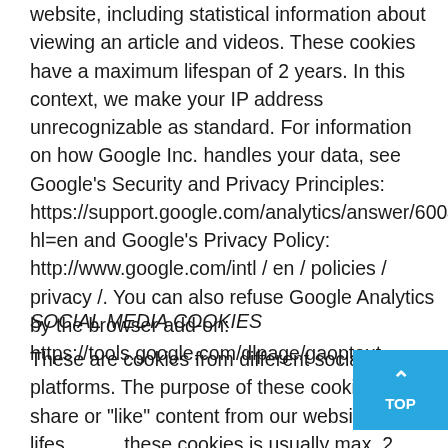website, including statistical information about viewing an article and videos. These cookies have a maximum lifespan of 2 years. In this context, we make your IP address unrecognizable as standard. For information on how Google Inc. handles your data, see Google's Security and Privacy Principles: https://support.google.com/analytics/answer/6004245?hl=en and Google's Privacy Policy: http://www.google.com/intl/en/policies/privacy/. You can also refuse Google Analytics by the browser add-on: https://tools.google.com/dlpage/gaoptout.
SOCIAL MEDIA COOKIES
These are cookies from different social media platforms. The purpose of these cookies is to share or "like" content from our website. The lifespan of these cookies is usually max. 2 years. It concerns data usage of the following platforms (see also links